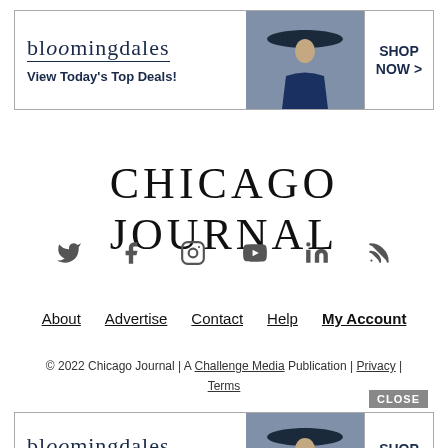[Figure (advertisement): Bloomingdale's banner ad: logo, 'View Today's Top Deals!', woman in hat, SHOP NOW > button]
CHICAGO JOURNAL
[Figure (infographic): Social media icons row: Twitter, Facebook, Instagram, YouTube, LinkedIn, RSS]
About  Advertise  Contact  Help  My Account
© 2022 Chicago Journal | A Challenge Media Publication | Privacy | Terms
[Figure (advertisement): Bloomingdale's banner ad (bottom): logo, 'View Today's Top Deals!', woman in hat, SHOP NOW > button, with CLOSE button overlay]